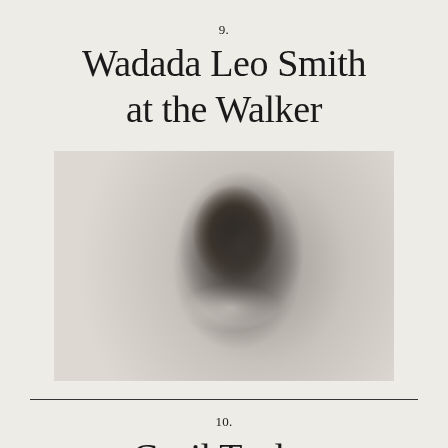9.
Wadada Leo Smith at the Walker
[Figure (photo): Black and white portrait photograph of a man with curly hair and a grey beard, looking upward, wearing a dark top, against a light background.]
10.
Cecil Taylor